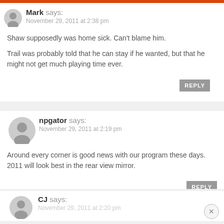Mark says: November 29, 2011 at 2:38 pm
Shaw supposedly was home sick. Can't blame him.

Trail was probably told that he can stay if he wanted, but that he might not get much playing time ever.
REPLY
npgator says: November 29, 2011 at 2:19 pm
Around every corner is good news with our program these days. 2011 will look best in the rear view mirror.
REPLY
CJ says: November 29, 2011 at 2:20 pm